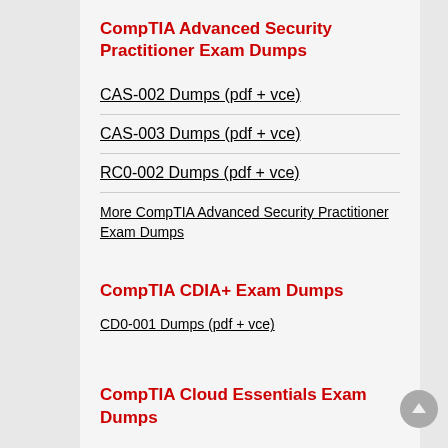CompTIA Advanced Security Practitioner Exam Dumps
CAS-002 Dumps (pdf + vce)
CAS-003 Dumps (pdf + vce)
RC0-002 Dumps (pdf + vce)
More CompTIA Advanced Security Practitioner Exam Dumps
CompTIA CDIA+ Exam Dumps
CD0-001 Dumps (pdf + vce)
CompTIA Cloud Essentials Exam Dumps